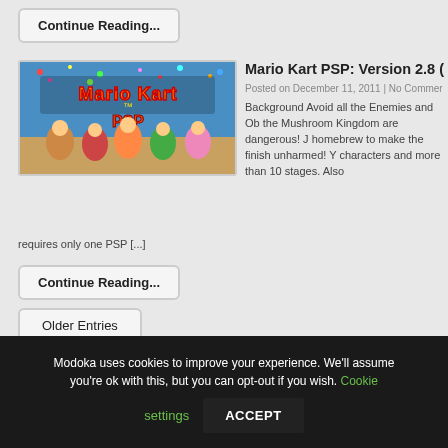Continue Reading...
Mario Kart PSP: Version 2.8 (
Posted on December 11, 2011  | No Commer
[Figure (screenshot): Mario Kart PSP game screenshot showing title screen with characters]
Background Avoid all the Enemies and Ob the Mushroom Kingdom are dangerous! J homebrew to make the finish unharmed! Y characters and more than 10 stages. Also requires only one PSP [...]
Continue Reading...
Older Entries
Modoka uses cookies to improve your experience. We'll assume you're ok with this, but you can opt-out if you wish. Cookie settings ACCEPT